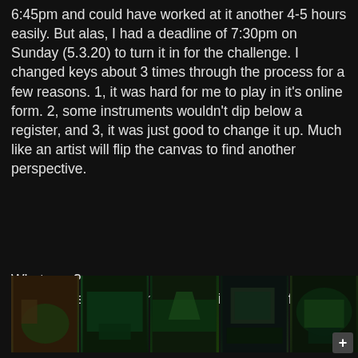6:45pm and could have worked at it another 4-5 hours easily. But alas, I had a deadline of 7:30pm on Sunday (5.3.20) to turn it in for the challenge. I changed keys about 3 times through the process for a few reasons. 1, it was hard for me to play in it's online form. 2, some instruments wouldn't dip below a register, and 3, it was just good to change it up. Much like an artist will flip the canvas to find another perspective.
What now?
Who knows. I'll keep making movies cause I fucking love it.
[Figure (photo): A row of five small thumbnail photos showing green-lit room scenes, likely a home studio setup with green lighting, equipment, and a person working.]